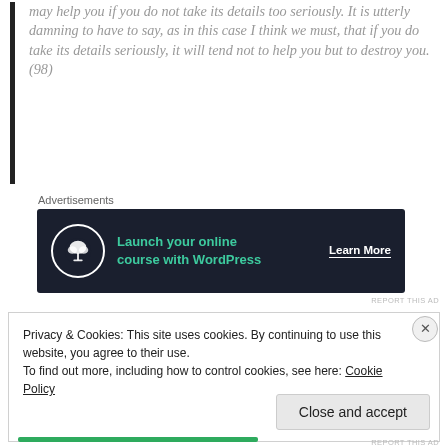may help you if you do not take its details too seriously. It is utterly damning to have to say, as in this case I think we must, that if you do take its details seriously, it will tend not to help you but to destroy you. (98)
Advertisements
[Figure (other): Advertisement banner for launching online courses with WordPress. Dark navy background with tree/bonsai icon, green text 'Launch your online course with WordPress', and 'Learn More' call to action in white.]
Privacy & Cookies: This site uses cookies. By continuing to use this website, you agree to their use.
To find out more, including how to control cookies, see here: Cookie Policy
Close and accept